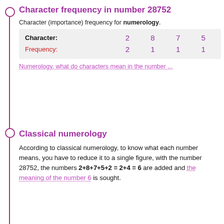Character frequency in number 28752
Character (importance) frequency for numerology.
| Character: | 2 | 8 | 7 | 5 |
| --- | --- | --- | --- | --- |
| Frequency: | 2 | 1 | 1 | 1 |
Numerology, what do characters mean in the number ...
Classical numerology
According to classical numerology, to know what each number means, you have to reduce it to a single figure, with the number 28752, the numbers 2+8+7+5+2 = 2+4 = 6 are added and the meaning of the number 6 is sought.